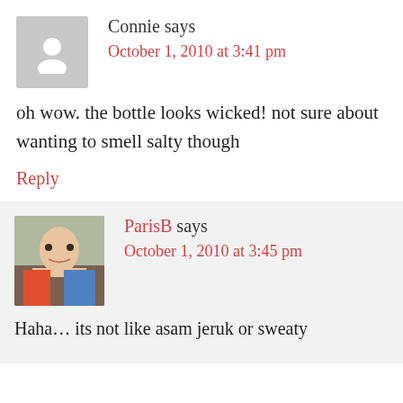Connie says
October 1, 2010 at 3:41 pm
oh wow. the bottle looks wicked! not sure about wanting to smell salty though
Reply
ParisB says
October 1, 2010 at 3:45 pm
Haha… its not like asam jeruk or sweaty